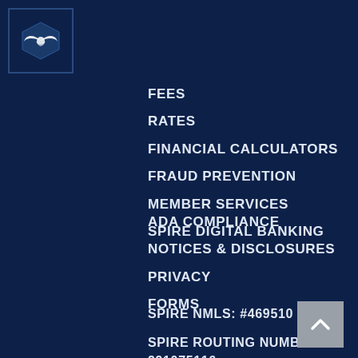[Figure (logo): Spire Credit Union logo — white shield/diamond icon on dark navy background]
FEES
RATES
FINANCIAL CALCULATORS
FRAUD PREVENTION
MEMBER SERVICES
SPIRE DIGITAL BANKING
ADA COMPLIANCE
NOTICES & DISCLOSURES
PRIVACY
FORMS
SPIRE NMLS: #469510
SPIRE ROUTING NUMBER:
291075116